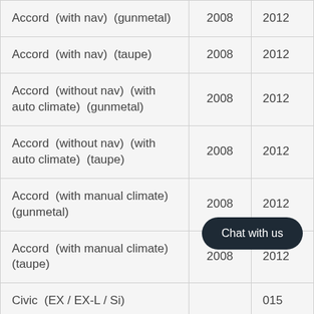| Model | Year From | Year To |
| --- | --- | --- |
| Accord  (with nav)  (gunmetal) | 2008 | 2012 |
| Accord  (with nav)  (taupe) | 2008 | 2012 |
| Accord  (without nav)  (with auto climate)  (gunmetal) | 2008 | 2012 |
| Accord  (without nav)  (with auto climate)  (taupe) | 2008 | 2012 |
| Accord  (with manual climate)  (gunmetal) | 2008 | 2012 |
| Accord  (with manual climate)  (taupe) | 2008 | 2012 |
| Civic  (EX / EX-L / Si) | ... | 015 |
| Civic  (LX) | 2014 | 201 |